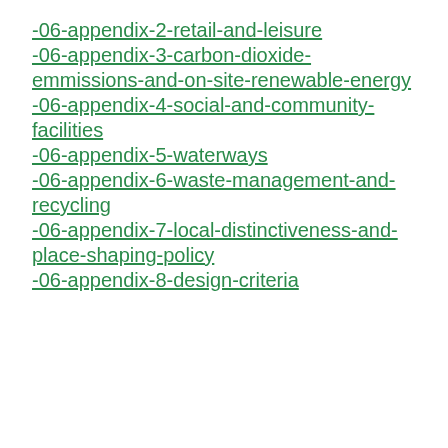-06-appendix-2-retail-and-leisure
-06-appendix-3-carbon-dioxide-emmissions-and-on-site-renewable-energy
-06-appendix-4-social-and-community-facilities
-06-appendix-5-waterways
-06-appendix-6-waste-management-and-recycling
-06-appendix-7-local-distinctiveness-and-place-shaping-policy
-06-appendix-8-design-criteria